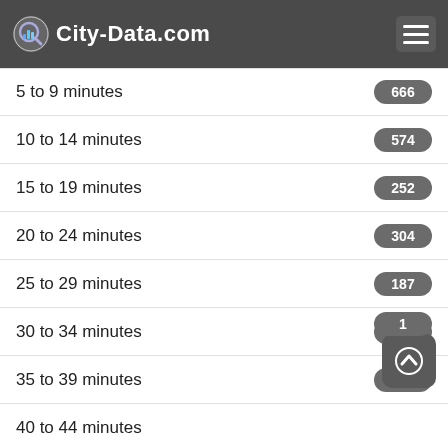City-Data.com
5 to 9 minutes
10 to 14 minutes
15 to 19 minutes
20 to 24 minutes
25 to 29 minutes
30 to 34 minutes
35 to 39 minutes
40 to 44 minutes
45 to 59 minutes